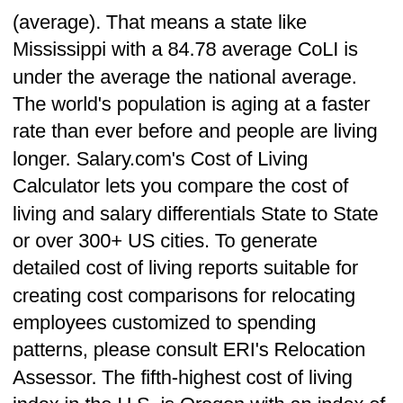(average). That means a state like Mississippi with a 84.78 average CoLI is under the average the national average. The world's population is aging at a faster rate than ever before and people are living longer. Salary.com's Cost of Living Calculator lets you compare the cost of living and salary differentials State to State or over 300+ US cities. To generate detailed cost of living reports suitable for creating cost comparisons for relocating employees customized to spending patterns, please consult ERI's Relocation Assessor. The fifth-highest cost of living index in the U.S. is Oregon with an index of 134.2. The Last Frontier is constantly blazing new trails when it comes to high cost of living. Medford: Artist Retreat . Cost of Living Calculators. See what you'll need to earn to keep your current standard of living wherever you choose to work and live. Bend and Medford are nearly on par with the statewide monthly average, offering assisted living at a monthly average of $4,553 to $4,624. To allow users to compare countries, however, we aggregate all of the city-level data for each country. On the